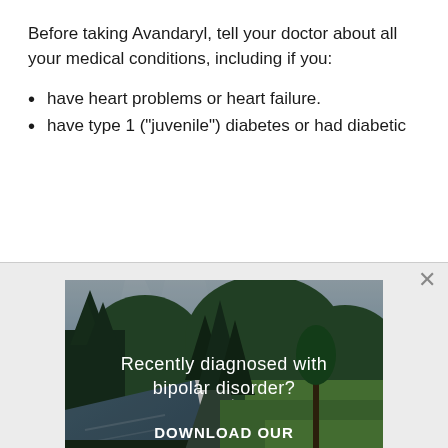Before taking Avandaryl, tell your doctor about all your medical conditions, including if you:
have heart problems or heart failure.
have type 1 ("juvenile") diabetes or had diabetic
[Figure (photo): Forest scene with river and pine trees, overlaid with promotional text: 'Recently diagnosed with bipolar disorder? DOWNLOAD OUR FREE EBOOK NOW.']
advertisement